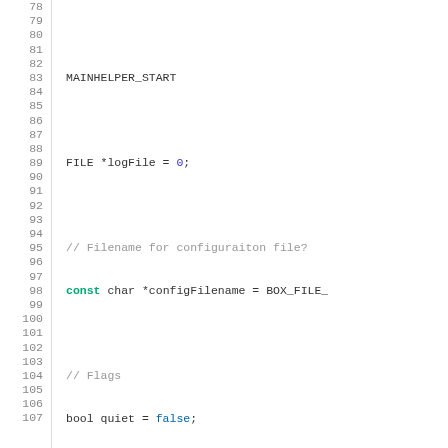[Figure (screenshot): Source code viewer showing C++ code lines 78-107 with line numbers, syntax highlighting in green, red, blue, and gray colors on white background.]